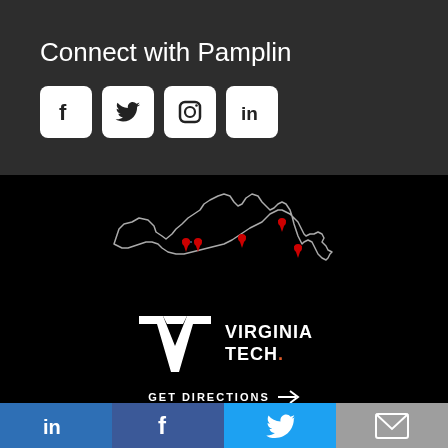Connect with Pamplin
[Figure (illustration): Social media icons: Facebook, Twitter, Instagram, LinkedIn in white rounded square icons on dark background]
[Figure (map): Outline map of Virginia state in white on black background with red location pin markers indicating Virginia Tech campus locations]
[Figure (logo): Virginia Tech logo with VT monogram and text VIRGINIA TECH]
GET DIRECTIONS →
LinkedIn | Facebook | Twitter | Email share buttons